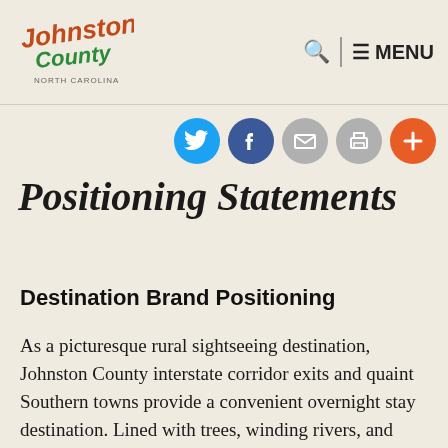Johnston County North Carolina — Search | MENU
[Figure (logo): Johnston County North Carolina cursive logo in orange and green]
[Figure (infographic): Social media icon buttons: Twitter (blue), Facebook (dark blue), Email (gray), Print (gray), Plus/share (orange)]
Positioning Statements
Destination Brand Positioning
As a picturesque rural sightseeing destination, Johnston County interstate corridor exits and quaint Southern towns provide a convenient overnight stay destination. Lined with trees, winding rivers, and wildflower medians, this regional 'main street' thoroughfare abounds in outlet and antique shopping, cultural heritage